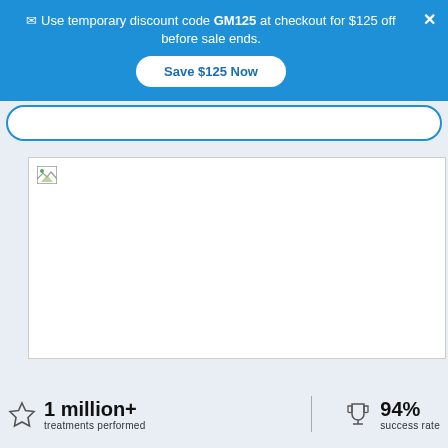✉ Use temporary discount code GM125 at checkout for $125 off before sale ends.
Save $125 Now
[Figure (photo): Broken image placeholder (white rectangle with small broken image icon in top-left)]
1 million+ treatments performed
94% success rate